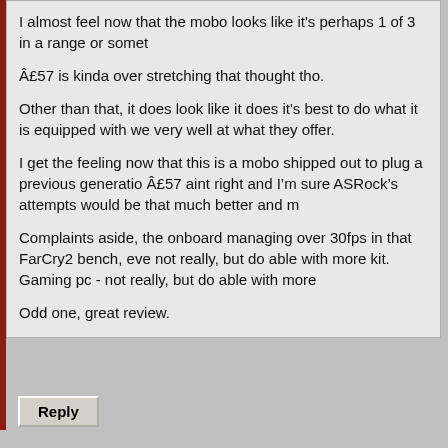I almost feel now that the mobo looks like it's perhaps 1 of 3 in a range or somet
Â£57 is kinda over stretching that thought tho.
Other than that, it does look like it does it's best to do what it is equipped with we very well at what they offer.
I get the feeling now that this is a mobo shipped out to plug a previous generatio Â£57 aint right and I'm sure ASRock's attempts would be that much better and m
Complaints aside, the onboard managing over 30fps in that FarCry2 bench, eve not really, but do able with more kit. Gaming pc - not really, but do able with more
Odd one, great review.
[Figure (screenshot): Reply button - a grey outset-style button with bold text 'Reply']
[Figure (photo): Corsair advertisement banner showing a laptop on a desk with microphone, purple lighting, CORSAIR logo and wings, text: GAME. CREATE, CORSAIR VOYAGER a1600 AMD, Streaming and Gaming Laptop]